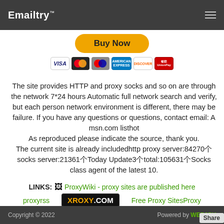Emailtry™
[Figure (other): Buy Now button with payment icons (Visa, Mastercard, Maestro, Amex, Discover, UnionPay)]
The site provides HTTP and proxy socks and so on are through the network 7*24 hours Automatic full network search and verify, but each person network environment is different, there may be failure. If you have any questions or questions, contact email: A msn.com listhot
As reproduced please indicate the source, thank you.
The current site is already includedhttp proxy server:84270个 socks server:21361个Today Update3个total:105631个Socks class agent of the latest 10.
LINKS: ProxyWiki - proxy sites are published here
proxyrss    XROXY.COM    Free Proxy SitesProxy TopList
Copyright © 2022    Powered by WEB2PY